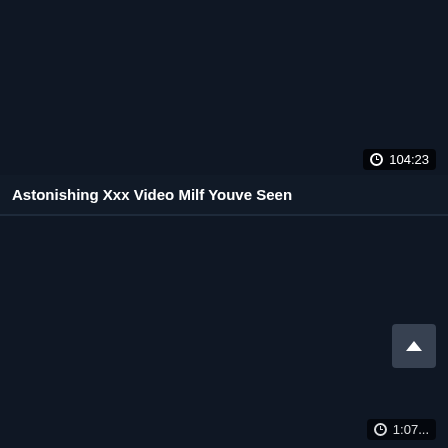[Figure (screenshot): Dark-themed video thumbnail card (top), dark navy background with duration badge showing clock icon and '104:23' in bottom-right area of thumbnail]
Astonishing Xxx Video Milf Youve Seen
[Figure (screenshot): Dark-themed video thumbnail card (bottom), dark navy background with scroll-to-top button and partial duration badge partially visible at bottom edge]